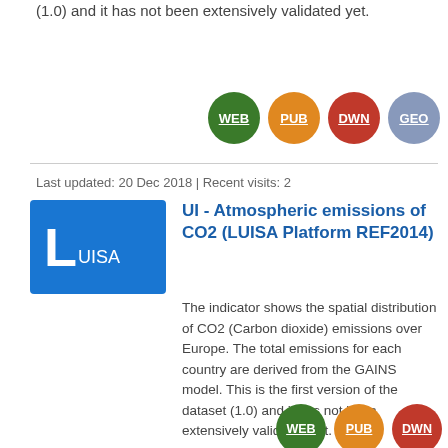(1.0) and it has not been extensively validated yet.
[Figure (other): Four colored circular badge buttons: WEB (green), PUB (orange), DWN (red), GEO (grey-blue)]
Last updated: 20 Dec 2018 | Recent visits: 2
[Figure (logo): Blue rectangle logo with large letter L followed by UISA in white]
UI - Atmospheric emissions of CO2 (LUISA Platform REF2014)
The indicator shows the spatial distribution of CO2 (Carbon dioxide) emissions over Europe. The total emissions for each country are derived from the GAINS model. This is the first version of the dataset (1.0) and it has not been extensively validated yet.
[Figure (other): Three colored circular badge buttons: WEB (green), PUB (orange), DWN (red)]